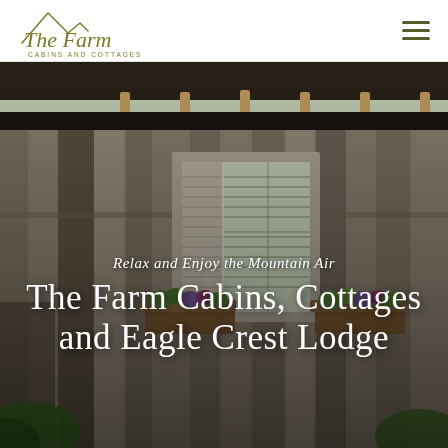[Figure (logo): The Farm Cabins and Cottages logo — stylized mountain peak with script and sans-serif text]
[Figure (photo): Rustic wooden cabin exterior with weathered planks, a window with shutters and flower boxes containing purple flowers, surrounded by green foliage]
Relax and Enjoy the Mountain Air
The Farm Cabins, Cottages and Eagle Crest Lodge